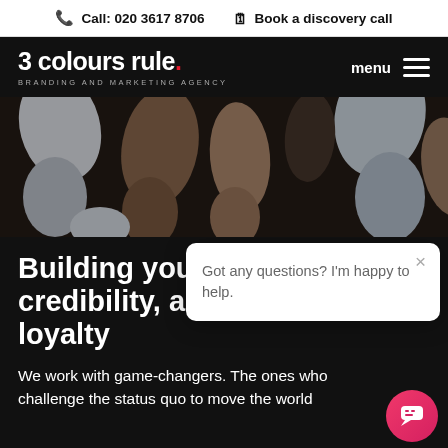Call: 020 3617 8706   Book a discovery call
[Figure (screenshot): 3 colours rule. branding and marketing agency logo with menu hamburger icon on black navigation bar]
[Figure (photo): Hero image showing group of people from above, mostly arms and legs visible, dark background with people in casual clothing]
Building your credibility, and loyalty
[Figure (screenshot): Chat popup widget with close X button and text: Got any questions? I'm happy to help.]
We work with game-changers. The ones who challenge the status quo to move the world forward. The ones who